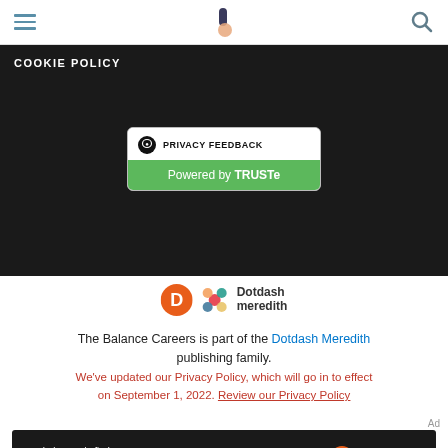Navigation bar with hamburger menu, The Balance Careers logo, and search icon
COOKIE POLICY
[Figure (logo): TRUSTe Privacy Feedback badge with green 'Powered by TRUSTe' bar]
[Figure (logo): Dotdash Meredith logo with orange D icon and colorful snowflake icon]
The Balance Careers is part of the Dotdash Meredith publishing family.
We've updated our Privacy Policy, which will go in to effect on September 1, 2022. Review our Privacy Policy
Ad
[Figure (screenshot): Dark ad banner reading 'We help people find answers, solve problems and get inspired.' with Dotdash Meredith logo]